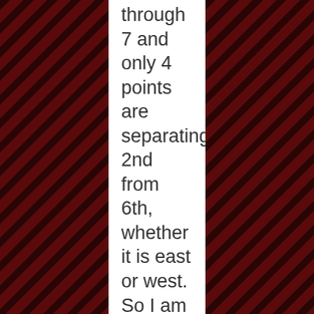through 7 and only 4 points are separating 2nd from 6th, whether it is east or west. So I am not sure we can dump too much on our home conference.

I think at the end of the day the team was able to pull out a respectable defensive